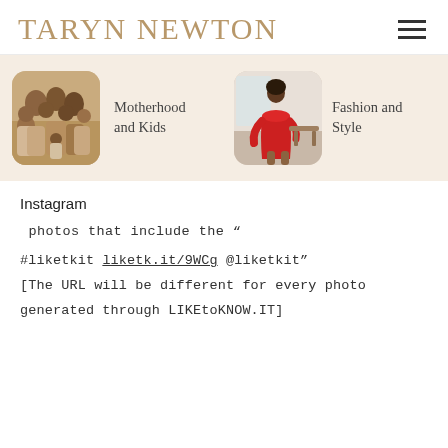TARYN NEWTON
[Figure (photo): Screenshot of Taryn Newton blog/website showing two category tiles: 'Motherhood and Kids' with a family photo, and 'Fashion and Style' with a woman in a red dress, on a light beige background.]
Instagram
photos that include the “
#liketkit liketk.it/9WCg @liketkit”
[The URL will be different for every photo generated through LIKEtoKNOW.IT]